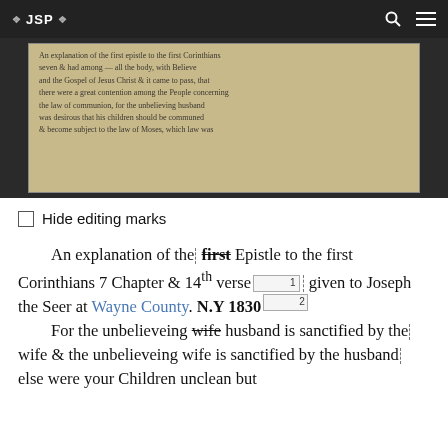JSP
[Figure (photo): Photograph of a handwritten historical manuscript page with cursive writing, showing aged paper with text discussing an explanation of scripture, showing editing marks and corrections.]
Hide editing marks
An explanation of the first [strikethrough] Epistle to the first Corinthians 7 Chapter & 14th verse [footnote 1] given to Joseph the Seer at Wayne County. N.Y 1830 [footnote 2]
For the unbelieveing wife [strikethrough] husband is sanctified by the wife & the unbelieveing wife is sanctified by the husband else were your Children unclean but